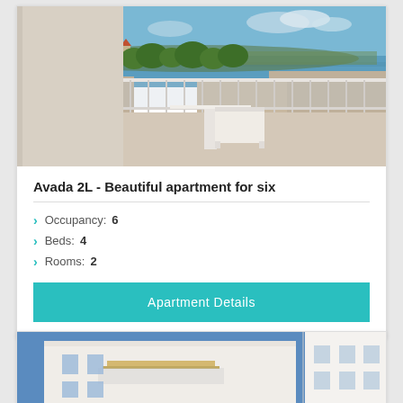[Figure (photo): Balcony view photo showing a white table and chair on a terrace with coastal town rooftops, trees, and sea visible in background under blue sky]
Avada 2L - Beautiful apartment for six
Occupancy: 6
Beds: 4
Rooms: 2
Apartment Details
[Figure (photo): Exterior photo of a white modern apartment building against blue sky, split view showing two angles]